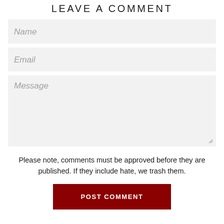LEAVE A COMMENT
Name
Email
Message
Please note, comments must be approved before they are published. If they include hate, we trash them.
POST COMMENT